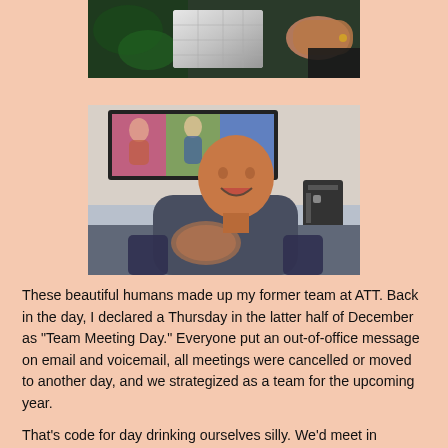[Figure (photo): Partial photo showing hands holding a wrapped gift near a Christmas tree]
[Figure (photo): Man sitting and laughing in a room with a TV screen behind him showing people; he is wearing a dark t-shirt and gesturing with his hand]
These beautiful humans made up my former team at ATT. Back in the day, I declared a Thursday in the latter half of December as "Team Meeting Day." Everyone put an out-of-office message on email and voicemail, all meetings were cancelled or moved to another day, and we strategized as a team for the upcoming year.
That's code for day drinking ourselves silly. We'd meet in